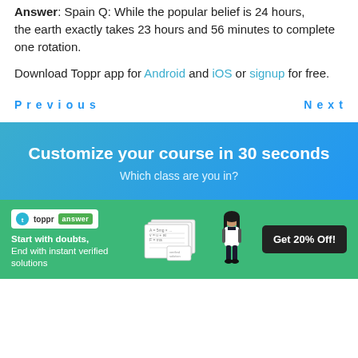Answer: Spain Q: While the popular belief is 24 hours, the earth exactly takes 23 hours and 56 minutes to complete one rotation.
Download Toppr app for Android and iOS or signup for free.
Previous    Next
Customize your course in 30 seconds
Which class are you in?
[Figure (infographic): Green banner with Toppr answer logo, tagline 'Start with doubts, End with instant verified solutions', notebook illustration, girl student image, and 'Get 20% Off!' button]